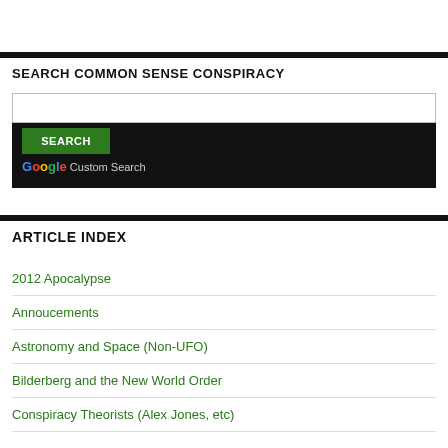SEARCH COMMON SENSE CONSPIRACY
[Figure (screenshot): Google Custom Search widget with a search input box, a green SEARCH button, and Google Custom Search branding on a black background]
ARTICLE INDEX
2012 Apocalypse
Annoucements
Astronomy and Space (Non-UFO)
Bilderberg and the New World Order
Conspiracy Theorists (Alex Jones, etc)